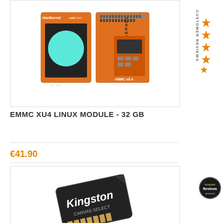[Figure (photo): Hardkernel eMMC XU4 Linux module v0.4 — two orange circuit boards, one showing a teal circle display and one showing the eMMC module with connectors]
EMMC XU4 LINUX MODULE - 32 GB
€41.90
[Figure (photo): Kingston SD/microSD card shown at an angle with Kingston branding in white text on dark card body]